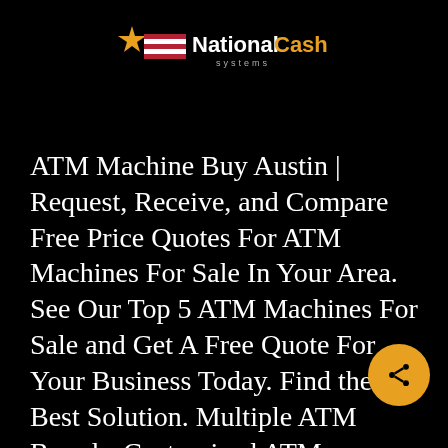[Figure (logo): National Cash Systems logo with star and flag icon, 'NationalCash' in white and gold text with 'systems' in small letters below]
ATM Machine Buy Austin | Request, Receive, and Compare Free Price Quotes For ATM Machines For Sale In Your Area. See Our Top 5 ATM Machines For Sale and Get A Free Quote For Your Business Today. Find the Best Solution. Multiple ATM Brands. Customized ATM Options. Not for Resale.